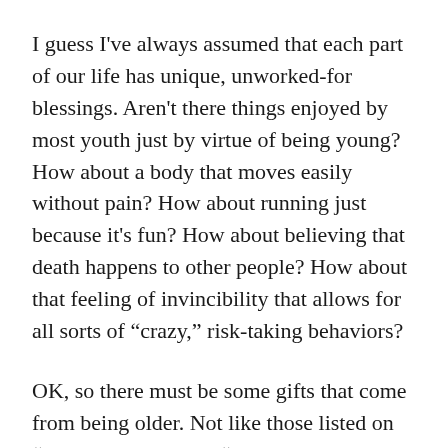I guess I've always assumed that each part of our life has unique, unworked-for blessings. Aren't there things enjoyed by most youth just by virtue of being young? How about a body that moves easily without pain? How about running just because it's fun? How about believing that death happens to other people? How about that feeling of invincibility that allows for all sorts of “craxy,” risk-taking behaviors?
OK, so there must be some gifts that come from being older. Not like those listed on “hotrodhearse.com:” “kidnappers are less interested in you, people stop viewing you as a hypochondriac, there’s nothing left to learn the hard way,” etc.
But seriously, what about “with age comes wisdom.” Now really, is every older person you know, wise? Uh, I don’t think so.